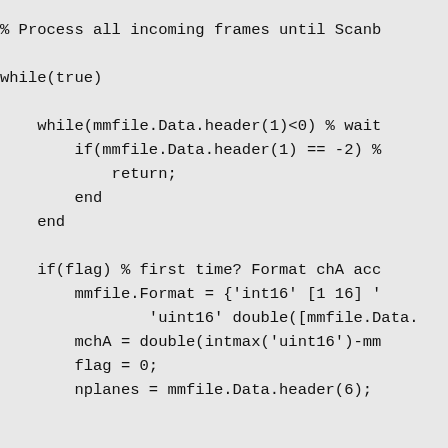% Process all incoming frames until Scanb

while(true)

    while(mmfile.Data.header(1)<0) % wait
        if(mmfile.Data.header(1) == -2) %
            return;
        end
    end

    if(flag) % first time? Format chA acc
        mmfile.Format = {'int16' [1 16] '
                'uint16' double([mmfile.Data.
        mchA = double(intmax('uint16')-mm
        flag = 0;
        nplanes = mmfile.Data.header(6);